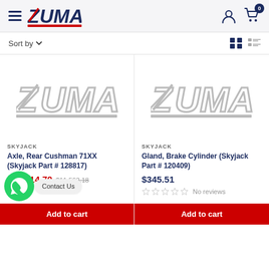ZUMA — navigation header with hamburger menu, logo, user icon, cart icon with badge 0
Sort by
[Figure (logo): Zuma gray logo placeholder for product 1 (Axle, Rear Cushman 71XX)]
SKYJACK
Axle, Rear Cushman 71XX (Skyjack Part # 128817)
$10,914.70  $11,562.18
[Figure (logo): Zuma gray logo placeholder for product 2 (Gland, Brake Cylinder)]
SKYJACK
Gland, Brake Cylinder (Skyjack Part # 120409)
$345.51
No reviews